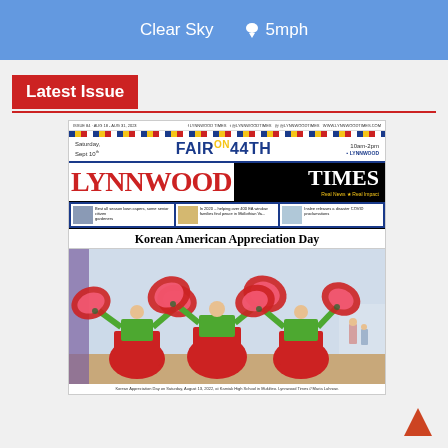Clear Sky   5mph
Latest Issue
[Figure (screenshot): Newspaper front page of the Lynnwood Times, Issue 84, Aug 18-Aug 31, 2023. Features 'Fair on 44th' event banner (Saturday, Sept 10th, 10am-2pm), Lynnwood Times masthead in red and black, sub-headline cards, main headline 'Korean American Appreciation Day', and a main photo of dancers in traditional Korean dress performing fan dance with red skirts and green tops.]
Korean Appreciation Day on Saturday, August 13, 2022, at Kamiak High School in Mukilteo. Lynnwood Times // Maria Luhnow.